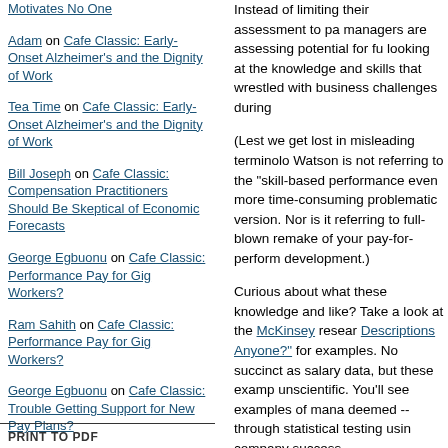Motivates No One
Adam on Cafe Classic: Early-Onset Alzheimer's and the Dignity of Work
Tea Time on Cafe Classic: Early-Onset Alzheimer's and the Dignity of Work
Bill Joseph on Cafe Classic: Compensation Practitioners Should Be Skeptical of Economic Forecasts
George Egbuonu on Cafe Classic: Performance Pay for Gig Workers?
Ram Sahith on Cafe Classic: Performance Pay for Gig Workers?
George Egbuonu on Cafe Classic: Trouble Getting Support for New Pay Plans?
Brandi Morgan on Happy New Year and a Cafe Announcement!
Blog powered by Typepad
PRINT TO PDF
Instead of limiting their assessment to pa managers are assessing potential for fu looking at the knowledge and skills that wrestled with business challenges during
(Lest we get lost in misleading terminolo Watson is not referring to the "skill-based performance even more time-consuming problematic version. Nor is it referring to full-blown remake of your pay-for-perform development.)
Curious about what these knowledge and like? Take a look at the McKinsey resear Descriptions Anyone?" for examples. No succinct as salary data, but these examp unscientific. You'll see examples of mana deemed -- through statistical testing usin company success.
Need I mention that this doesn't mean th course not. Take a look at this research a through how to upgrade your pay-for-per
You know what they say about people w